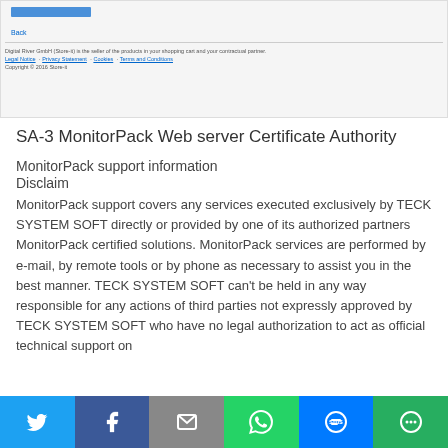[Figure (screenshot): Browser screenshot showing a web page footer with 'Back' link, Digital River GmbH disclaimer text, Legal Notice, Privacy Statement, Cookies, Terms and Conditions links, and copyright notice]
SA-3 MonitorPack Web server Certificate Authority
MonitorPack support information
Disclaim
MonitorPack support covers any services executed exclusively by TECK SYSTEM SOFT directly or provided by one of its authorized partners MonitorPack certified solutions. MonitorPack services are performed by e-mail, by remote tools or by phone as necessary to assist you in the best manner. TECK SYSTEM SOFT can't be held in any way responsible for any actions of third parties not expressly approved by TECK SYSTEM SOFT who have no legal authorization to act as official technical support on
[Figure (screenshot): Social sharing bar with Twitter, Facebook, Email, WhatsApp, SMS, and More buttons]